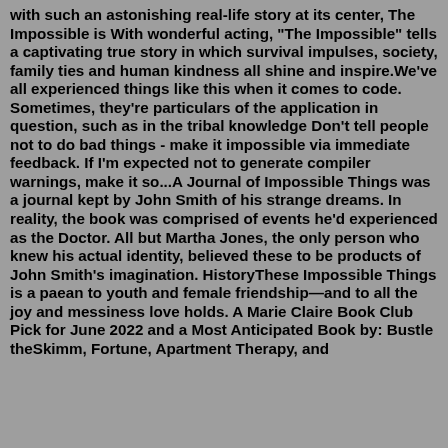with such an astonishing real-life story at its center, The Impossible is With wonderful acting, "The Impossible" tells a captivating true story in which survival impulses, society, family ties and human kindness all shine and inspire.We've all experienced things like this when it comes to code. Sometimes, they're particulars of the application in question, such as in the tribal knowledge Don't tell people not to do bad things - make it impossible via immediate feedback. If I'm expected not to generate compiler warnings, make it so...A Journal of Impossible Things was a journal kept by John Smith of his strange dreams. In reality, the book was comprised of events he'd experienced as the Doctor. All but Martha Jones, the only person who knew his actual identity, believed these to be products of John Smith's imagination. HistoryThese Impossible Things is a paean to youth and female friendship—and to all the joy and messiness love holds. A Marie Claire Book Club Pick for June 2022 and a Most Anticipated Book by: Bustle theSkimm, Fortune, Apartment Therapy, and